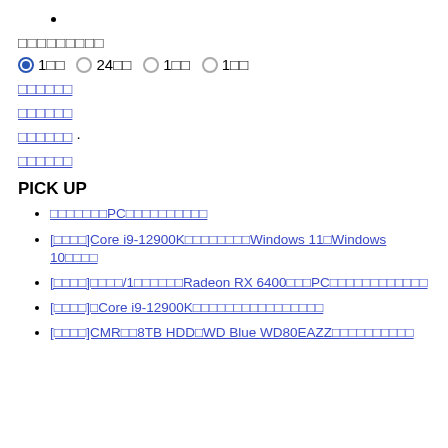•
□□□□□□□□□
● 1□□  ○ 24□□  ○ 1□□  ○ 1□□
□□□□□□
□□□□□□
□□□□□□
□□□□□□
PICK UP
□□□□□□□PC□□□□□□□□□□
[□□□□]Core i9-12900K□□□□□□□□Windows 11□Windows 10□□□□
[□□□□]□□□□/1□□□□□□Radeon RX 6400□□□PC□□□□□□□□□□□□
[□□□□]□Core i9-12900K□□□□□□□□□□□□□□□□
[□□□□]CMR□□8TB HDD□WD Blue WD80EAZZ□□□□□□□□□□